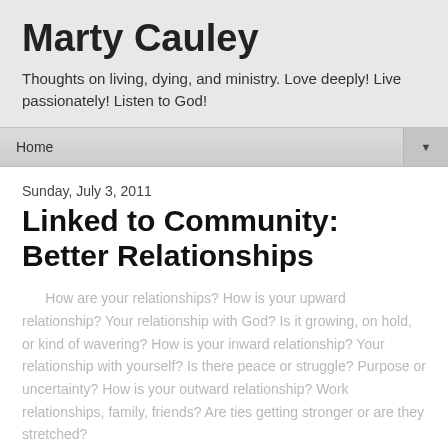Marty Cauley
Thoughts on living, dying, and ministry. Love deeply! Live passionately! Listen to God!
Home
Sunday, July 3, 2011
Linked to Community: Better Relationships
How are your relationships? How is your upward relationship? Your relationship with God? Is it growing, on hold, or kind of wavering? How is your inward relationship? Your relationship with yourself? Is there peace or struggle? Purpose or uncertainty? How is your outward relationship? Work relationships, family, friends? Are ties getting stronger or are they stretched?
For three weeks we have been talking about the...